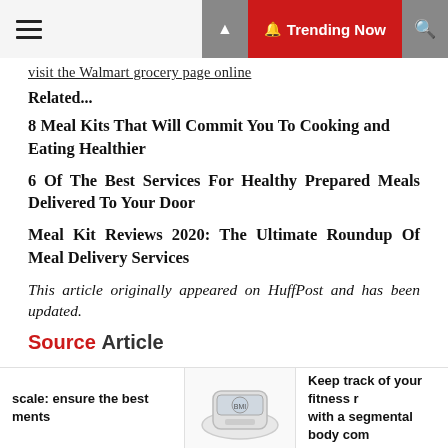Trending Now
visit the Walmart grocery page online
Related...
8 Meal Kits That Will Commit You To Cooking and Eating Healthier
6 Of The Best Services For Healthy Prepared Meals Delivered To Your Door
Meal Kit Reviews 2020: The Ultimate Roundup Of Meal Delivery Services
This article originally appeared on HuffPost and has been updated.
Source Article
scale: ensure the best ments
Keep track of your fitness r with a segmental body com